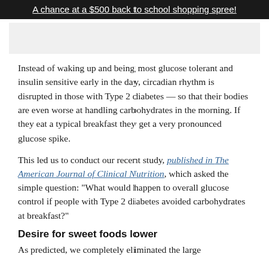A chance at a $500 back to school shopping spree!
[Figure (other): Gray advertisement banner placeholder]
Instead of waking up and being most glucose tolerant and insulin sensitive early in the day, circadian rhythm is disrupted in those with Type 2 diabetes — so that their bodies are even worse at handling carbohydrates in the morning. If they eat a typical breakfast they get a very pronounced glucose spike.
This led us to conduct our recent study, published in The American Journal of Clinical Nutrition, which asked the simple question: "What would happen to overall glucose control if people with Type 2 diabetes avoided carbohydrates at breakfast?"
Desire for sweet foods lower
As predicted, we completely eliminated the large...